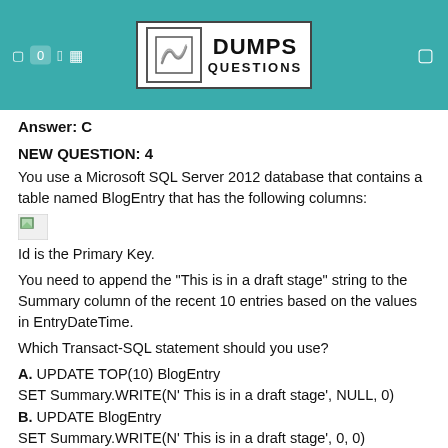[Figure (logo): DumpsQuestions logo with teal header background, showing badge with 0, a search icon, the DumpsQuestions logo in center, and a menu icon on right]
Answer: C
NEW QUESTION: 4
You use a Microsoft SQL Server 2012 database that contains a table named BlogEntry that has the following columns:
[Figure (illustration): Broken image placeholder (small green/gray square)]
Id is the Primary Key.
You need to append the "This is in a draft stage" string to the Summary column of the recent 10 entries based on the values in EntryDateTime.
Which Transact-SQL statement should you use?
A. UPDATE TOP(10) BlogEntry SET Summary.WRITE(N' This is in a draft stage', NULL, 0)
B. UPDATE BlogEntry SET Summary.WRITE(N' This is in a draft stage', 0, 0)